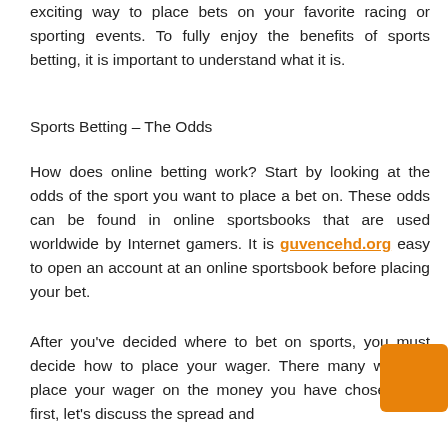exciting way to place bets on your favorite racing or sporting events. To fully enjoy the benefits of sports betting, it is important to understand what it is.
Sports Betting – The Odds
How does online betting work? Start by looking at the odds of the sport you want to place a bet on. These odds can be found in online sportsbooks that are used worldwide by Internet gamers. It is guvencehd.org easy to open an account at an online sportsbook before placing your bet.
After you've decided where to bet on sports, you must decide how to place your wager. There many ways to place your wager on the money you have chosen. But first, let's discuss the spread and